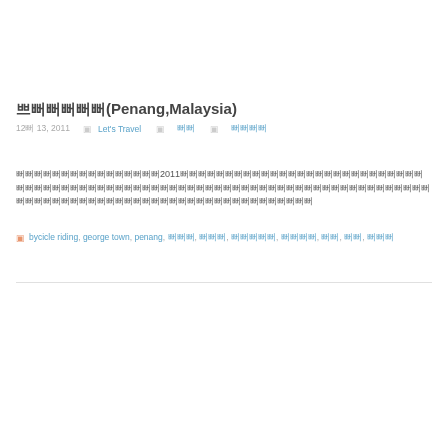쁘 뻐뻐뻐뼈(Penang,Malaysia)
12뻐 13, 2011   ▣  Let's Travel   ▣  뻐뻐  ▣  뻐뻐뻐뻐
뻐뻐뻐뻐뻐뻐뻐뻐뻐뻐뻐뻐뻐뻐뻐뻐2011뻐뻐뻐뻐뻐뻐뻐뻐뻐뻐뻐뻐뻐뻐뻐뻐뻐뻐뻐뻐뻐뻐뻐뻐뻐뻐뻐뻐뻐뻐뻐뻐뻐뻐뻐뻐뻐뻐뻐뻐뻐뻐뻐뻐뻐뻐뻐뻐뻐뻐뻐뻐뻐뻐뻐뻐뻐뻐뻐뻐뻐뻐뻐뻐뻐뻐뻐뻐뻐뻐뻐뻐뻐뻐뻐뻐뻐뻐뻐뻐뻐뻐뻐뻐뻐뻐뻐뻐뻐뻐뻐뻐뻐뻐
▣  bycicle riding, george town, penang, 뻐뻐뻐, 뻐뻐뻐, 뻐뻐뻐뻐뻐, 뻐뻐뻐뻐, 뻐뻐, 뻐뻐, 뻐뻐뻐